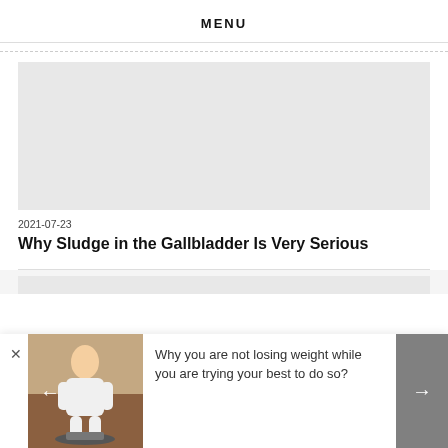MENU
[Figure (photo): Grey placeholder image for article thumbnail]
2021-07-23
Why Sludge in the Gallbladder Is Very Serious
[Figure (photo): Woman standing on a weighing scale, smiling, wearing white top]
Why you are not losing weight while you are trying your best to do so?